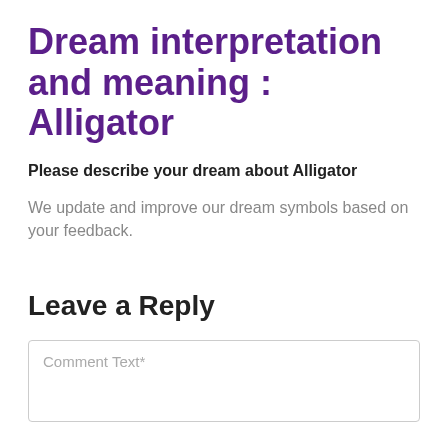Dream interpretation and meaning : Alligator
Please describe your dream about Alligator
We update and improve our dream symbols based on your feedback.
Leave a Reply
Comment Text*